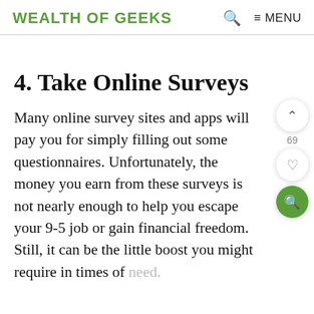WEALTH OF GEEKS   🔍   ≡ MENU
4. Take Online Surveys
Many online survey sites and apps will pay you for simply filling out some questionnaires. Unfortunately, the money you earn from these surveys is not nearly enough to help you escape your 9-5 job or gain financial freedom. Still, it can be the little boost you might require in times of need.